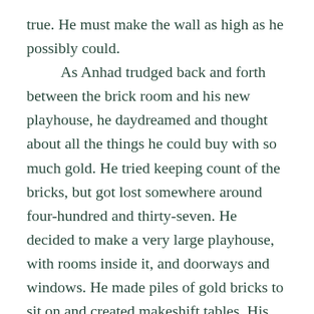true. He must make the wall as high as he possibly could.

As Anhad trudged back and forth between the brick room and his new playhouse, he daydreamed and thought about all the things he could buy with so much gold. He tried keeping count of the bricks, but got lost somewhere around four-hundred and thirty-seven. He decided to make a very large playhouse, with rooms inside it, and doorways and windows. He made piles of gold bricks to sit on and created makeshift tables. His focus grew intense, and he forgot everything except the golden bricks that he carried and laid out so